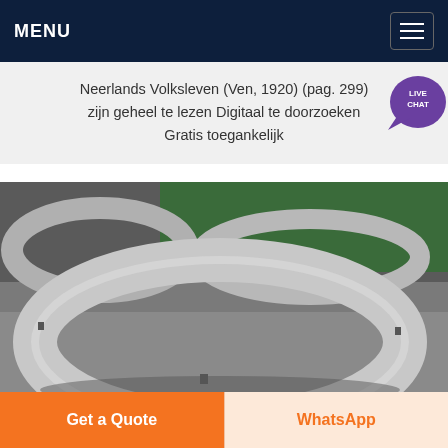MENU
Neerlands Volksleven (Ven, 1920) (pag. 299) zijn geheel te lezen Digitaal te doorzoeken Gratis toegankelijk
[Figure (photo): Large metal forged rings lying on a concrete surface outdoors, showing multiple circular steel ring forgings of various sizes.]
Get a Quote
WhatsApp